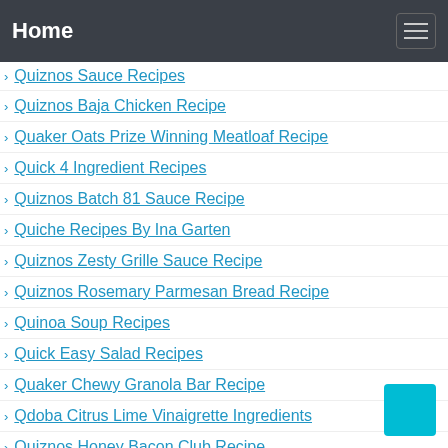Home
Quiznos Sauce Recipes
Quiznos Baja Chicken Recipe
Quaker Oats Prize Winning Meatloaf Recipe
Quick 4 Ingredient Recipes
Quiznos Batch 81 Sauce Recipe
Quiche Recipes By Ina Garten
Quiznos Zesty Grille Sauce Recipe
Quiznos Rosemary Parmesan Bread Recipe
Quinoa Soup Recipes
Quick Easy Salad Recipes
Quaker Chewy Granola Bar Recipe
Qdoba Citrus Lime Vinaigrette Ingredients
Quiznos Honey Bacon Club Recipe